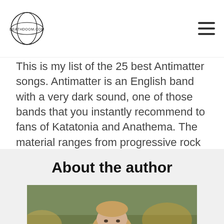deathdoom.com
This is my list of the 25 best Antimatter songs. Antimatter is an English band with a very dark sound, one of those bands that you instantly recommend to fans of Katatonia and Anathema. The material ranges from progressive rock and acoustic to electronic darkwave, making it quite hard to compare songs from different eras. Below is my shot at it!
About the author
[Figure (photo): Portrait photo of the author, a man with long blond hair and beard, outdoors with autumn foliage in background]